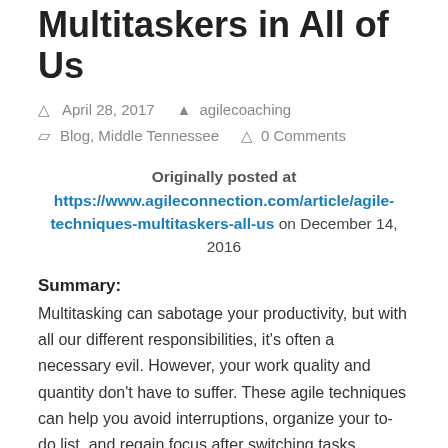Multitaskers in All of Us
April 28, 2017   agilecoaching
Blog, Middle Tennessee   0 Comments
Originally posted at https://www.agileconnection.com/article/agile-techniques-multitaskers-all-us on December 14, 2016
Summary:
Multitasking can sabotage your productivity, but with all our different responsibilities, it's often a necessary evil. However, your work quality and quantity don't have to suffer. These agile techniques can help you avoid interruptions, organize your to-do list, and regain focus after switching tasks.